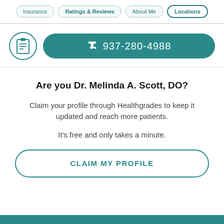Insurance | Ratings & Reviews | About Me | Locations
937-280-4988
Are you Dr. Melinda A. Scott, DO?
Claim your profile through Healthgrades to keep it updated and reach more patients.
It’s free and only takes a minute.
CLAIM MY PROFILE